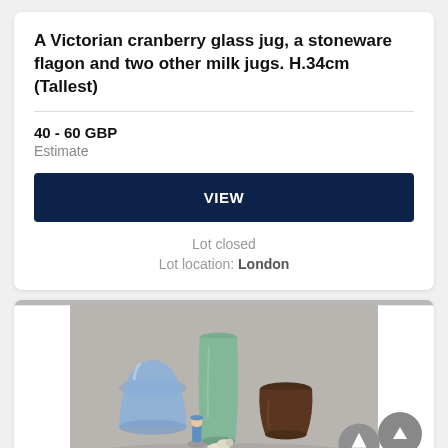A Victorian cranberry glass jug, a stoneware flagon and two other milk jugs. H.34cm (Tallest)
40 - 60 GBP
Estimate
VIEW
Lot closed
Lot location: London
[Figure (photo): Photo of ceramic and glass items: a large green celadon vase, a blue frosted glass vase, a dark brown ceramic jar, and two small porcelain figurines of a child with animals, arranged on a grey background.]